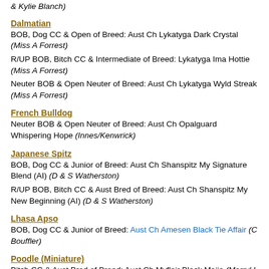& Kylie Blanch)
Dalmatian
BOB, Dog CC & Open of Breed: Aust Ch Lykatyga Dark Crystal (Miss A Forrest)
R/UP BOB, Bitch CC & Intermediate of Breed: Lykatyga Ima Hottie (Miss A Forrest)
Neuter BOB & Open Neuter of Breed: Aust Ch Lykatyga Wyld Streak (Miss A Forrest)
French Bulldog
Neuter BOB & Open Neuter of Breed: Aust Ch Opalguard Whispering Hope (Innes/Kenwrick)
Japanese Spitz
BOB, Dog CC & Junior of Breed: Aust Ch Shanspitz My Signature Blend (AI) (D & S Watherston)
R/UP BOB, Bitch CC & Aust Bred of Breed: Aust Ch Shanspitz My New Beginning (AI) (D & S Watherston)
Lhasa Apso
BOB, Dog CC & Junior of Breed: Aust Ch Amesen Black Tie Affair (C Bouffler)
Poodle (Miniature)
Bitch CC & Aust Bred of Breed: Aust Ch Myflair Black Maija (Merryl L Yet